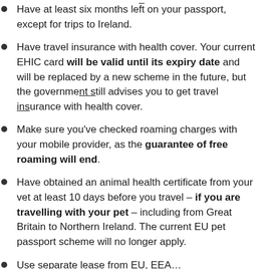Have at least six months left on your passport, except for trips to Ireland.
Have travel insurance with health cover. Your current EHIC card will be valid until its expiry date and will be replaced by a new scheme in the future, but the government still advises you to get travel insurance with health cover.
Make sure you've checked roaming charges with your mobile provider, as the guarantee of free roaming will end.
Have obtained an animal health certificate from your vet at least 10 days before you travel – if you are travelling with your pet – including from Great Britain to Northern Ireland. The current EU pet passport scheme will no longer apply.
Use separate lease from EU, EEA…